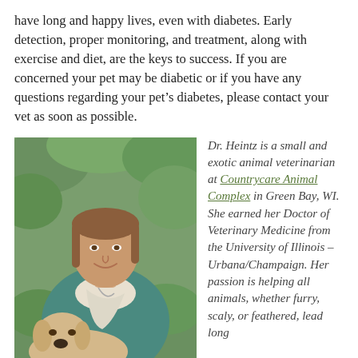have long and happy lives, even with diabetes. Early detection, proper monitoring, and treatment, along with exercise and diet, are the keys to success. If you are concerned your pet may be diabetic or if you have any questions regarding your pet's diabetes, please contact your vet as soon as possible.
[Figure (photo): Photo of Dr. Heintz, a woman with brown hair wearing a teal sweater and floral scarf, holding a light-colored dog, outdoors with green foliage background.]
Dr. Heintz is a small and exotic animal veterinarian at Countrycare Animal Complex in Green Bay, WI. She earned her Doctor of Veterinary Medicine from the University of Illinois – Urbana/Champaign. Her passion is helping all animals, whether furry, scaly, or feathered, lead long